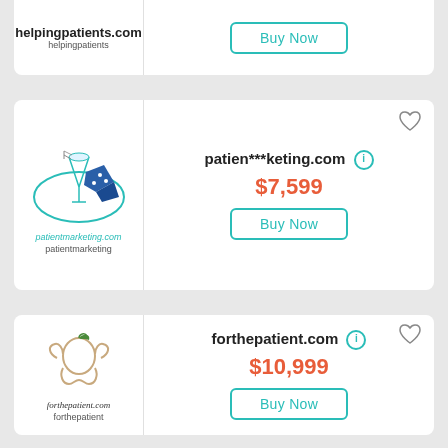[Figure (logo): helpingpatients.com logo card (partial, top cut off) with Buy Now button]
[Figure (logo): patientmarketing.com logo with cocktail and map graphic]
patien***keting.com
$7,599
Buy Now
[Figure (logo): forthepatient.com logo with apple and hands graphic]
forthepatient.com
$10,999
Buy Now